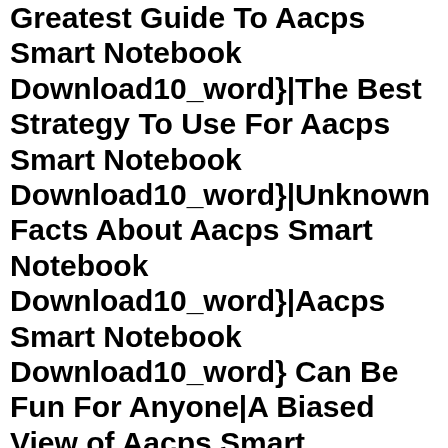Greatest Guide To Aacps Smart Notebook Download10_word}|The Best Strategy To Use For Aacps Smart Notebook Download10_word}|Unknown Facts About Aacps Smart Notebook Download10_word}|Aacps Smart Notebook Download10_word} Can Be Fun For Anyone|A Biased View of Aacps Smart Notebook Download10_word}|Getting The Aacps Smart Notebook Download10_word}